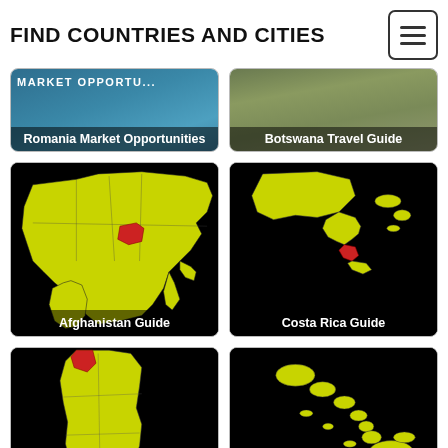FIND COUNTRIES AND CITIES
[Figure (photo): Romania Market Opportunities card with blue/teal background and market text]
Romania Market Opportunities
[Figure (photo): Botswana Travel Guide card with nature/animal photo]
Botswana Travel Guide
[Figure (map): Map showing Asia/Europe in yellow on black background with Afghanistan highlighted in red]
Afghanistan Guide
[Figure (map): Map showing Central America in yellow on black background with Costa Rica highlighted in red]
Costa Rica Guide
[Figure (map): Map showing South America in yellow on black background with Ecuador highlighted in red]
Ecuador Guide
[Figure (map): Map showing Caribbean islands in yellow on black background with Trinidad and Tobago highlighted]
Trinidad and Tobago Guide